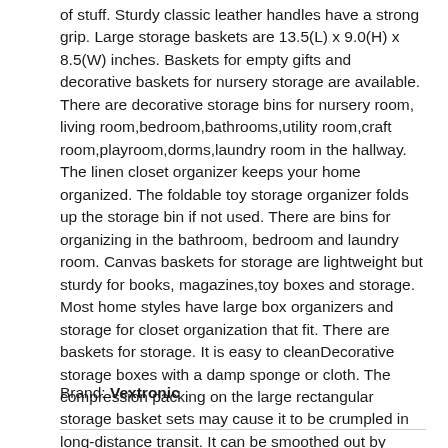of stuff. Sturdy classic leather handles have a strong grip. Large storage baskets are 13.5(L) x 9.0(H) x 8.5(W) inches. Baskets for empty gifts and decorative baskets for nursery storage are available. There are decorative storage bins for nursery room, living room,bedroom,bathrooms,utility room,craft room,playroom,dorms,laundry room in the hallway. The linen closet organizer keeps your home organized. The foldable toy storage organizer folds up the storage bin if not used. There are bins for organizing in the bathroom, bedroom and laundry room. Canvas baskets for storage are lightweight but sturdy for books, magazines,toy boxes and storage. Most home styles have large box organizers and storage for closet organization that fit. There are baskets for storage. It is easy to cleanDecorative storage boxes with a damp sponge or cloth. The compression packing on the large rectangular storage basket sets may cause it to be crumpled in long-distance transit. It can be smoothed out by steam iron and hairdryer after a period of time.
Brand: Vextronic